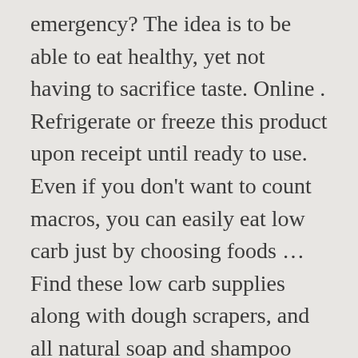emergency? The idea is to be able to eat healthy, yet not having to sacrifice taste. Online . Refrigerate or freeze this product upon receipt until ready to use. Even if you don't want to count macros, you can easily eat low carb just by choosing foods ... Find these low carb supplies along with dough scrapers, and all natural soap and shampoo bars. 97 ($2.07/Ounce) Join Prime to save $2.10 on this item . Craft Supplies Gifts & Gift Cards All Jewelry & Accessories. If you are wondering what foods to buy or supplies to stock up on this is when a low carb emergency food guide makes a world of difference. ThinSlim Foods Love the Taste Zero Carb Pizza Crust. A well-constructed low carb diet will deliver the daily